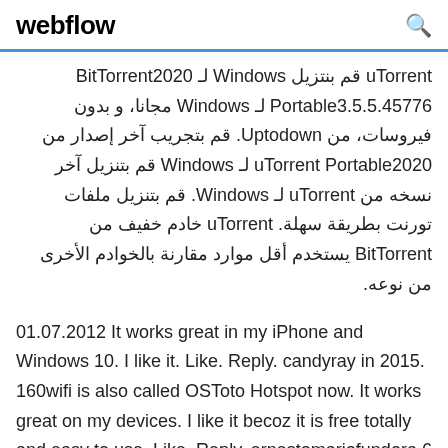webflow
uTorrent قم بنتزيل Windows لـ BitTorrent2020 Portable3.5.5.45776 لـ Windows مجانا، و بدون فيروسات، من Uptodown. قم بتجريب آخر إصدار من uTorrent Portable2020 لـ Windows قم بتنزيل آخر نسخه من uTorrent لـ Windows. قم بتنزيل ملفات تورنت بطريقة سهلة. uTorrent خادم خفيف من BitTorrent يستخدم أقل موارد مقارنة بالخوادم الأخرى من نوعه.
01.07.2012 It works great in my iPhone and Windows 10. I like it. Like. Reply. candyray in 2015. 160wifi is also called OSToto Hotspot now. It works great on my devices. I like it becoz it is free totally and easy to use. Like. Reply. ernestomariofundora 6 months ago. very good.